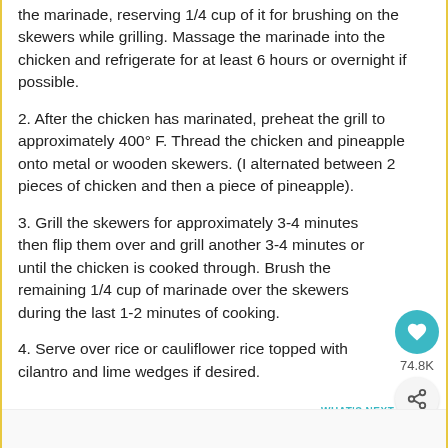the marinade, reserving 1/4 cup of it for brushing on the skewers while grilling. Massage the marinade into the chicken and refrigerate for at least 6 hours or overnight if possible.
2. After the chicken has marinated, preheat the grill to approximately 400° F. Thread the chicken and pineapple onto metal or wooden skewers. (I alternated between 2 pieces of chicken and then a piece of pineapple).
3. Grill the skewers for approximately 3-4 minutes then flip them over and grill another 3-4 minutes or until the chicken is cooked through. Brush the remaining 1/4 cup of marinade over the skewers during the last 1-2 minutes of cooking.
4. Serve over rice or cauliflower rice topped with cilantro and lime wedges if desired.
[Figure (infographic): Heart/save button with teal background showing 74.8K saves, and a share button below it. A 'WHAT'S NEXT' panel with a food thumbnail and 'Hawaiian Chicken...' label.]